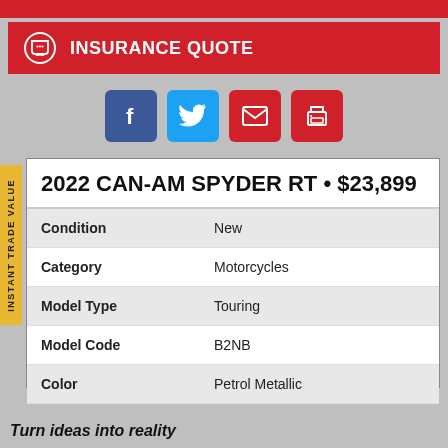INSURANCE QUOTE
2022 CAN-AM SPYDER RT • $23,899
|  |  |
| --- | --- |
| Condition | New |
| Category | Motorcycles |
| Model Type | Touring |
| Model Code | B2NB |
| Color | Petrol Metallic |
Turn ideas into reality